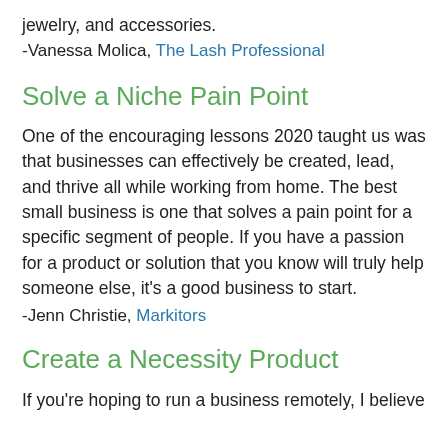jewelry, and accessories.
-Vanessa Molica, The Lash Professional
Solve a Niche Pain Point
One of the encouraging lessons 2020 taught us was that businesses can effectively be created, lead, and thrive all while working from home. The best small business is one that solves a pain point for a specific segment of people. If you have a passion for a product or solution that you know will truly help someone else, it’s a good business to start.
-Jenn Christie, Markitors
Create a Necessity Product
If you’re hoping to run a business remotely, I believe